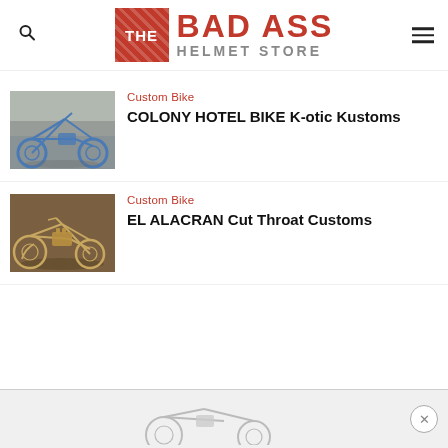THE BAD ASS HELMET STORE
Custom Bike
COLONY HOTEL BIKE K-otic Kustoms
Custom Bike
EL ALACRAN Cut Throat Customs
[Figure (photo): Partial view of a custom motorcycle at the bottom of the page]